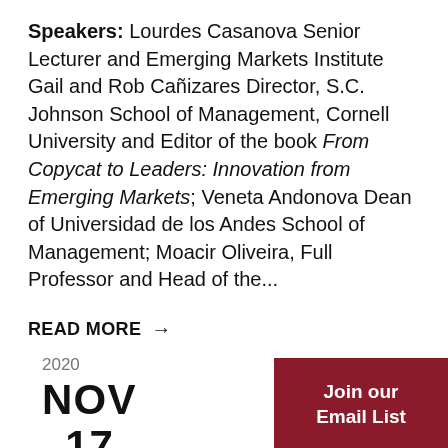Speakers: Lourdes Casanova Senior Lecturer and Emerging Markets Institute Gail and Rob Cañizares Director, S.C. Johnson School of Management, Cornell University and Editor of the book From Copycat to Leaders: Innovation from Emerging Markets; Veneta Andonova Dean of Universidad de los Andes School of Management; Moacir Oliveira, Full Professor and Head of the...
READ MORE →
2020 NOV 17
Join our Email List